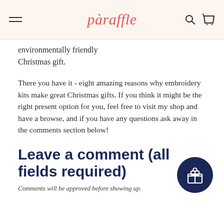paraffle
environmentally friendly Christmas gift.
There you have it - eight amazing reasons why embroidery kits make great Christmas gifts. If you think it might be the right present option for you, feel free to visit my shop and have a browse, and if you have any questions ask away in the comments section below!
Leave a comment (all fields required)
Comments will be approved before showing up.